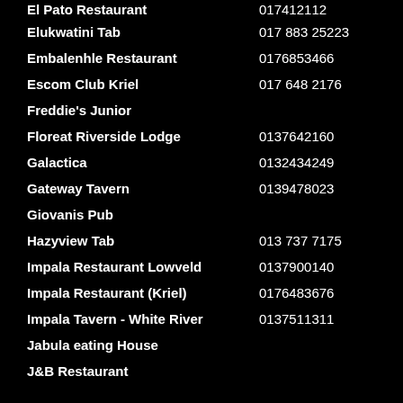El Pato Restaurant   017412112
Elukwatini Tab   017 883 25223
Embalenhle Restaurant   0176853466
Escom Club Kriel   017 648 2176
Freddie's Junior
Floreat Riverside Lodge   0137642160
Galactica   0132434249
Gateway Tavern   0139478023
Giovanis Pub
Hazyview Tab   013 737 7175
Impala Restaurant Lowveld   0137900140
Impala Restaurant (Kriel)   0176483676
Impala Tavern - White River   0137511311
Jabula eating House
J&B Restaurant